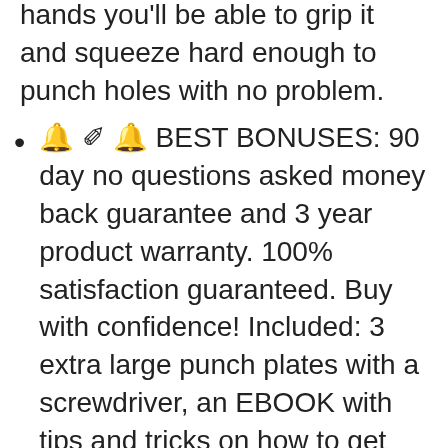hands you'll be able to grip it and squeeze hard enough to punch holes with no problem.
🔔✍️🔔 BEST BONUSES: 90 day no questions asked money back guarantee and 3 year product warranty. 100% satisfaction guaranteed. Buy with confidence! Included: 3 extra large punch plates with a screwdriver, an EBOOK with tips and tricks on how to get the best results using your new belt hole punch, ruler and awl tool.